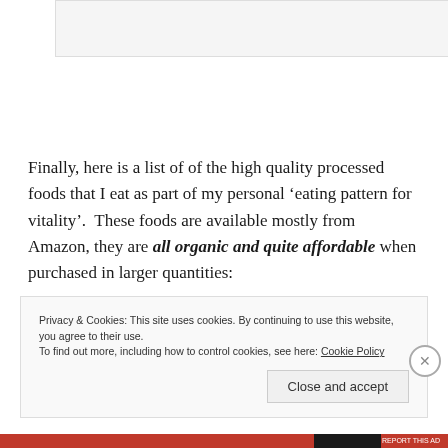[Figure (other): Image placeholder at the top of the page]
Finally, here is a list of of the high quality processed foods that I eat as part of my personal ‘eating pattern for vitality’.  These foods are available mostly from Amazon, they are all organic and quite affordable when purchased in larger quantities:
Privacy & Cookies: This site uses cookies. By continuing to use this website, you agree to their use.
To find out more, including how to control cookies, see here: Cookie Policy
Close and accept